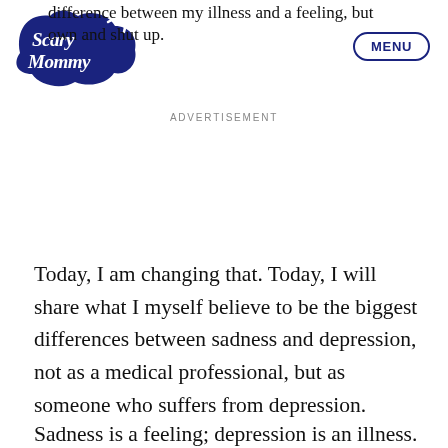[Figure (logo): Scary Mommy logo — white cursive text on dark navy cloud-shaped background]
difference between my illness and a feeling, but own and shut up.
[Figure (other): MENU button — oval outline with bold navy MENU text]
ADVERTISEMENT
Today, I am changing that. Today, I will share what I myself believe to be the biggest differences between sadness and depression, not as a medical professional, but as someone who suffers from depression.
Sadness is a feeling; depression is an illness.